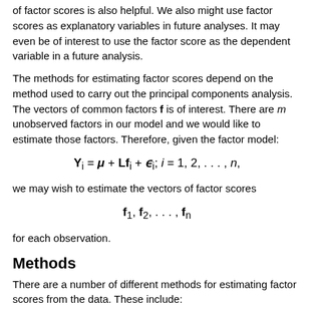of factor scores is also helpful. We also might use factor scores as explanatory variables in future analyses. It may even be of interest to use the factor score as the dependent variable in a future analysis.
The methods for estimating factor scores depend on the method used to carry out the principal components analysis. The vectors of common factors f is of interest. There are m unobserved factors in our model and we would like to estimate those factors. Therefore, given the factor model:
we may wish to estimate the vectors of factor scores
for each observation.
Methods
There are a number of different methods for estimating factor scores from the data. These include: